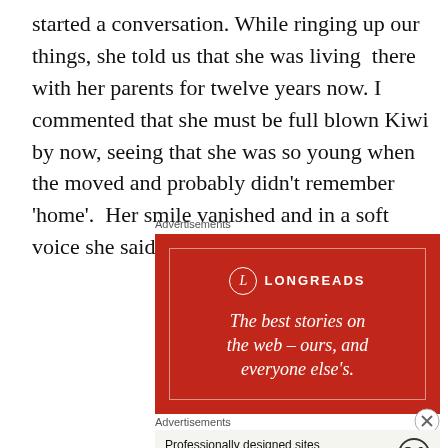started a conversation. While ringing up our things, she told us that she was living  there with her parents for twelve years now. I commented that she must be full blown Kiwi by now, seeing that she was so young when the moved and probably didn't remember 'home'.  Her smile vanished and in a soft voice she said:
Advertisements
[Figure (other): Longreads advertisement banner with red background. Shows the Longreads logo (circle with L) and the text 'The best stories on the web – ours, and everyone else's.']
Advertisements
[Figure (other): WordPress advertisement with text 'Professionally designed sites in less than a week' and WordPress logo]